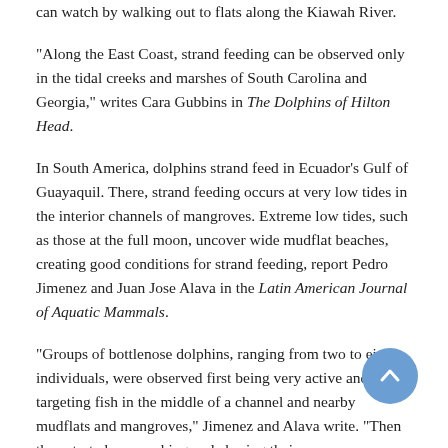can watch by walking out to flats along the Kiawah River.
“Along the East Coast, strand feeding can be observed only in the tidal creeks and marshes of South Carolina and Georgia,” writes Cara Gubbins in The Dolphins of Hilton Head.
In South America, dolphins strand feed in Ecuador’s Gulf of Guayaquil. There, strand feeding occurs at very low tides in the interior channels of mangroves. Extreme low tides, such as those at the full moon, uncover wide mudflat beaches, creating good conditions for strand feeding, report Pedro Jimenez and Juan Jose Alava in the Latin American Journal of Aquatic Mammals.
“Groups of bottlenose dolphins, ranging from two to eight individuals, were observed first being very active and targeting fish in the middle of a channel and nearby mudflats and mangroves,” Jimenez and Alava write. “Then they started approaching and chasing their prey,